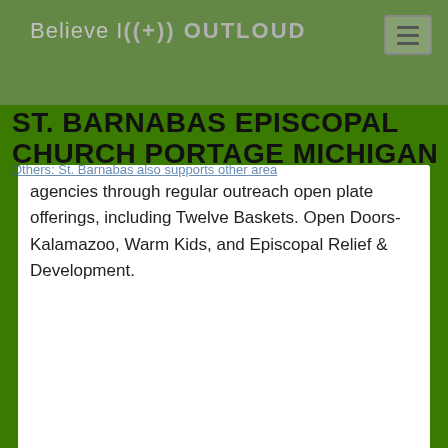Believe It Out Loud
ST. BARNABAS EPISCOPAL CHURCH PORTAGE MICHIGAN
Others: St. Barnabas also supports other area agencies through regular outreach open plate offerings, including Twelve Baskets. Open Doors-Kalamazoo, Warm Kids, and Episcopal Relief & Development.